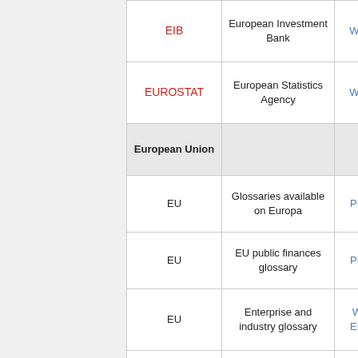| Abbreviation/Name | Description | Link |
| --- | --- | --- |
| EIB | European Investment Bank | We… |
| EUROSTAT | European Statistics Agency | We… |
| European Union |  |  |
| EU | Glossaries available on Europa | PD… |
| EU | EU public finances glossary | PD… |
| EU | Enterprise and industry glossary | W… EN… |
| EU | Enterprise and industry glossary | W… NL… |
| EU | Enterprise and industry glossary | … |